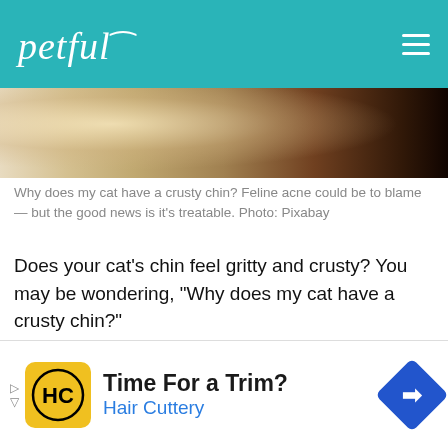petful
[Figure (photo): Close-up photo of a cat's face/chin area, warm tones]
Why does my cat have a crusty chin? Feline acne could be to blame — but the good news is it's treatable. Photo: Pixabay
Does your cat's chin feel gritty and crusty? You may be wondering, “Why does my cat have a crusty chin?”
Most cats enter a state of semi-ecstasy when rubbed on that sweet spot under the chin. This is in part because it feels nice, and partly because they’re king us as their territory.
[Figure (infographic): Advertisement: Time For a Trim? Hair Cuttery — with HC logo and navigation arrow icon]